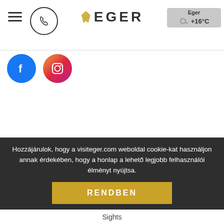[Figure (screenshot): Website header with hamburger menu, phone icon, EGER logo with wing icon, and weather widget showing Eger +16°C]
[Figure (logo): Facebook circular icon (blue) and Instagram circular icon (gradient purple/orange)]
[Figure (logo): Hungarian Tourism Agency Qualified Partner 2018 award badge with golden laurel wreaths]
Hozzájárulok, hogy a visiteger.com weboldal cookie-kat használjon annak érdekében, hogy a honlap a lehető legjobb felhasználói élményt nyújtsa.
RENDBEN
Sights